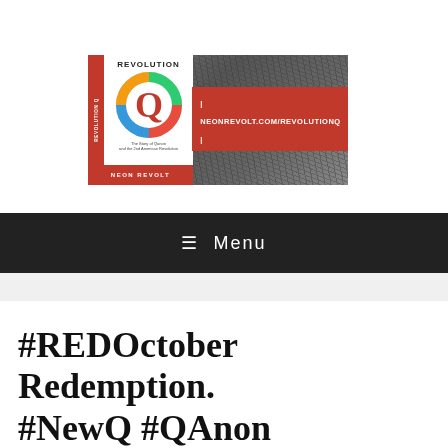[Figure (illustration): Banner advertisement for 'Revolution Q' book by Neon Revolt, showing a book cover with a colorful Q logo on a dark rocky background, with URL neonrevolt.com/revolutionq displayed in a red box]
≡  Menu
#REDOctober Redemption. #NewQ #QAnon